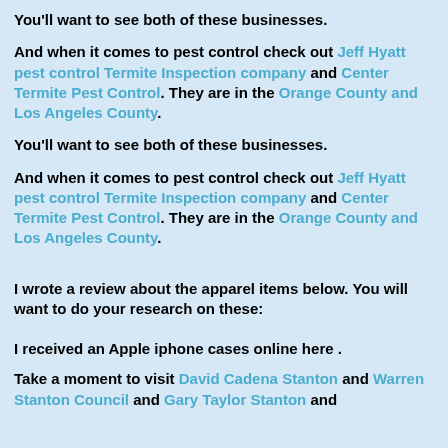You'll want to see both of these businesses.
And when it comes to pest control check out Jeff Hyatt pest control Termite Inspection company and Center Termite Pest Control. They are in the Orange County and Los Angeles County.
You'll want to see both of these businesses.
And when it comes to pest control check out Jeff Hyatt pest control Termite Inspection company and Center Termite Pest Control. They are in the Orange County and Los Angeles County.
I wrote a review about the apparel items below. You will want to do your research on these:
I received an Apple iphone cases online here .
Take a moment to visit David Cadena Stanton and Warren Stanton Council and Gary Taylor Stanton and